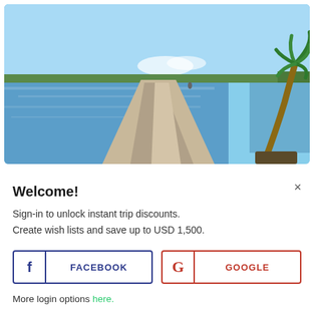[Figure (photo): Tropical beach scene: a sandy sandbar stretches into calm blue water under a clear light blue sky, with a palm tree on the right side and distant green mangroves on the horizon.]
Welcome!
Sign-in to unlock instant trip discounts.
Create wish lists and save up to USD 1,500.
FACEBOOK
GOOGLE
More login options here.